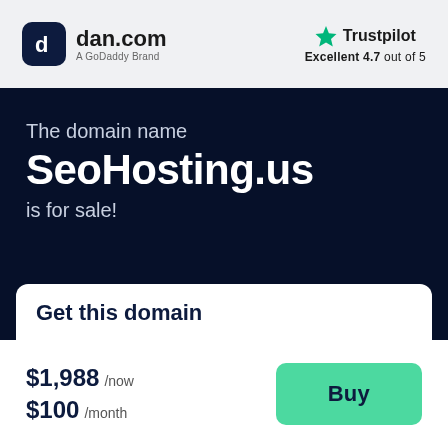[Figure (logo): dan.com logo - dark rounded square icon with stylized 'd' letter, followed by 'dan.com' text and 'A GoDaddy Brand' subtitle]
[Figure (logo): Trustpilot logo with green star and 'Trustpilot' text, below reads 'Excellent 4.7 out of 5']
The domain name SeoHosting.us is for sale!
Get this domain
$1,988 /now $100 /month
Buy